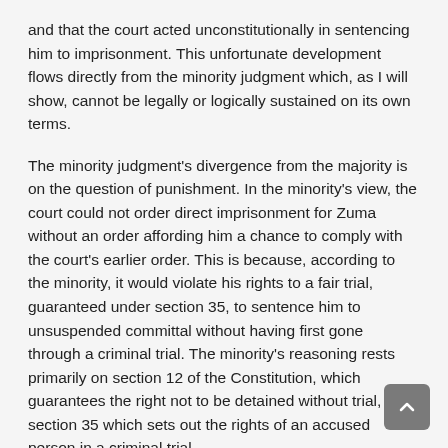and that the court acted unconstitutionally in sentencing him to imprisonment. This unfortunate development flows directly from the minority judgment which, as I will show, cannot be legally or logically sustained on its own terms.
The minority judgment's divergence from the majority is on the question of punishment. In the minority's view, the court could not order direct imprisonment for Zuma without an order affording him a chance to comply with the court's earlier order. This is because, according to the minority, it would violate his rights to a fair trial, guaranteed under section 35, to sentence him to unsuspended committal without having first gone through a criminal trial. The minority's reasoning rests primarily on section 12 of the Constitution, which guarantees the right not to be detained without trial, and section 35 which sets out the rights of an accused person in a criminal trial.